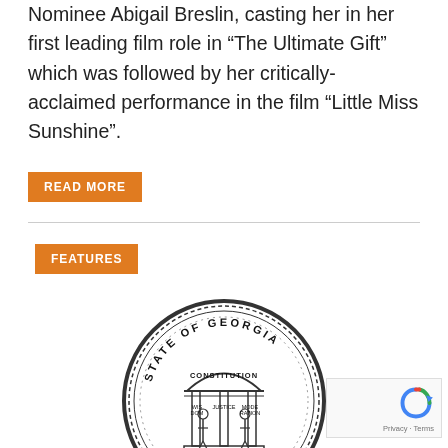Nominee Abigail Breslin, casting her in her first leading film role in “The Ultimate Gift” which was followed by her critically-acclaimed performance in the film “Little Miss Sunshine”.
READ MORE
FEATURES
[Figure (logo): State of Georgia official seal showing an arch with pillars, figures representing wisdom, justice and moderation, text reading STATE OF GEORGIA around the border, CONSTITUTION on the arch, and the year 1776 at the bottom.]